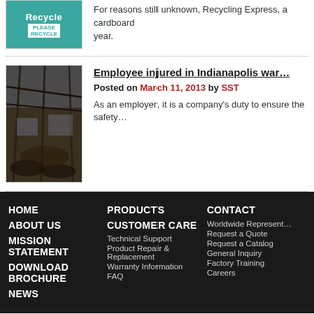[Figure (photo): Recycle Express cardboard recycling sign with teal background and 'PLEASE RECYCLE' text]
For reasons still unknown, Recycling Express, a cardboard year.
[Figure (photo): Burned out warehouse interior with charred debris and structural damage]
Employee injured in Indianapolis war…
Posted on March 11, 2013 by SST
As an employer, it is a company's duty to ensure the safety…
HOME  ABOUT US  MISSION STATEMENT  DOWNLOAD BROCHURE  NEWS  PRODUCTS  CUSTOMER CARE  Technical Support  Product Repair & Replacement  Warranty Information  FAQ  CONTACT  Worldwide Represent…  Request a Quote  Request a Catalog  General Inquiry  Factory Training  Careers